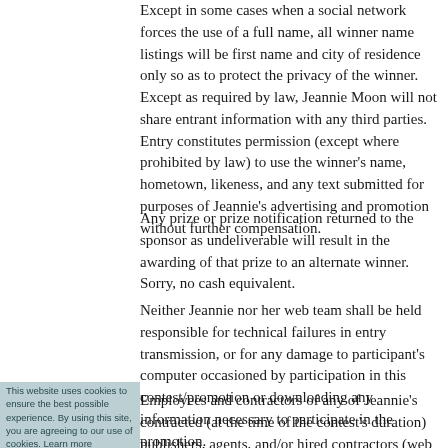Except in some cases when a social network forces the use of a full name, all winner name listings will be first name and city of residence only so as to protect the privacy of the winner. Except as required by law, Jeannie Moon will not share entrant information with any third parties. Entry constitutes permission (except where prohibited by law) to use the winner's name, hometown, likeness, and any text submitted for purposes of Jeannie's advertising and promotion without further compensation.
Any prize or prize notification returned to the sponsor as undeliverable will result in the awarding of that prize to an alternate winner. Sorry, no cash equivalent.
Neither Jeannie nor her web team shall be held responsible for technical failures in entry transmission, or for any damage to participant's computer occasioned by participation in this contest/promotion or downloading any information necessary to participate in the promotion.
Employees and contractors of any of Jeannie's contracted (at the time of the contest's duration) publishers, agents, and/or hired contractors (web design, publicists, etc.) and affiliated companies and members of those employees'/contractors'